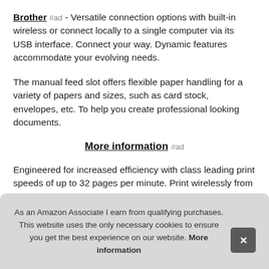Brother #ad - Versatile connection options with built-in wireless or connect locally to a single computer via its USB interface. Connect your way. Dynamic features accommodate your evolving needs.
The manual feed slot offers flexible paper handling for a variety of papers and sizes, such as card stock, envelopes, etc. To help you create professional looking documents.
More information #ad
Engineered for increased efficiency with class leading print speeds of up to 32 pages per minute. Print wirelessly from your...
As an Amazon Associate I earn from qualifying purchases. This website uses the only necessary cookies to ensure you get the best experience on our website. More information